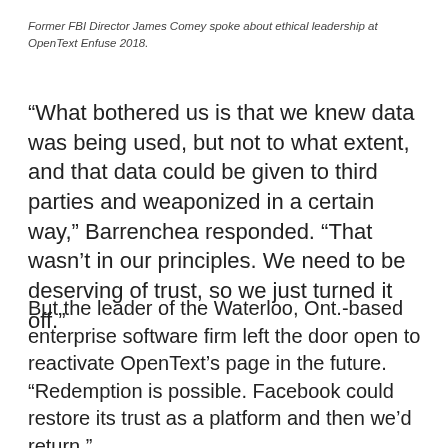Former FBI Director James Comey spoke about ethical leadership at OpenText Enfuse 2018.
“What bothered us is that we knew data was being used, but not to what extent, and that data could be given to third parties and weaponized in a certain way,” Barrenchea responded. “That wasn’t in our principles. We need to be deserving of trust, so we just turned it off.”
But the leader of the Waterloo, Ont.-based enterprise software firm left the door open to reactivate OpenText’s page in the future. “Redemption is possible. Facebook could restore its trust as a platform and then we’d return.”